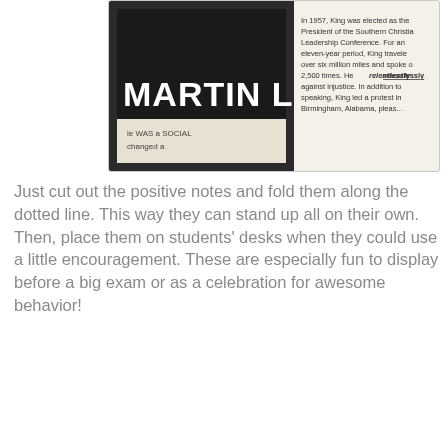[Figure (photo): Photo of Martin Luther King educational materials – cards showing 'MARTIN LUTH' text and a book page with text about King being elected president of the Southern Christian Leadership Conference, traveling over six million miles, speaking relentlessly against injustice, and leading a protest in Birmingham, Alabama.]
Just cut out the positive notes and fold them along the dotted line. This way they can stand up all on their own. Then, place them on students' desks when they could use a little encouragement. These are especially fun to display before a big exam or as a celebration for awesome behavior!
WORK CARDS
[Figure (photo): Photo of a hand using a green hole punch on yellow and green work cards that read 'Your' and 'das' (cards), with a worksheet visible in the background.]